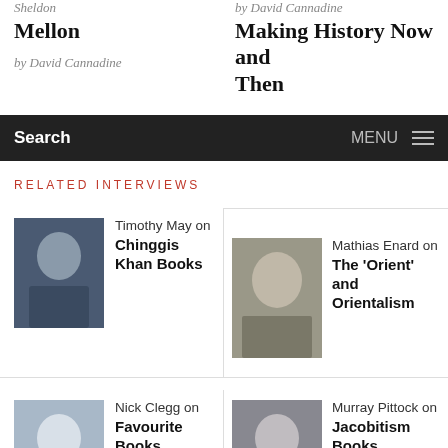Sheldon / Mellon by David Cannadine | by David Cannadine / Making History Now and Then
RELATED INTERVIEWS
Timothy May on Chinggis Khan Books
Mathias Enard on The 'Orient' and Orientalism
Nick Clegg on Favourite Books
Murray Pittock on Jacobitism Books
Richard Bourke on Modern Irish